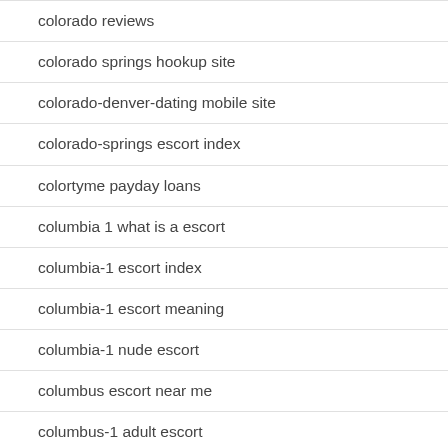colorado reviews
colorado springs hookup site
colorado-denver-dating mobile site
colorado-springs escort index
colortyme payday loans
columbia 1 what is a escort
columbia-1 escort index
columbia-1 escort meaning
columbia-1 nude escort
columbus escort near me
columbus-1 adult escort